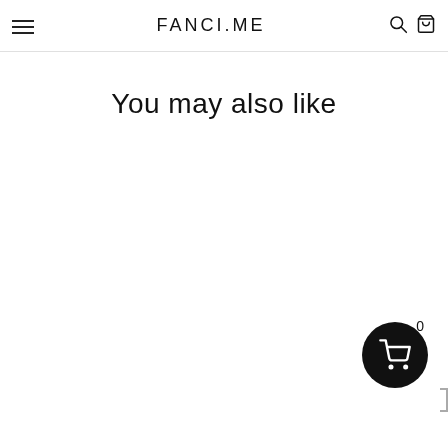FANCI.ME — navigation header with hamburger menu, logo, search and cart icons
You may also like
[Figure (illustration): Floating cart bubble with shopping cart icon and count badge showing 0]